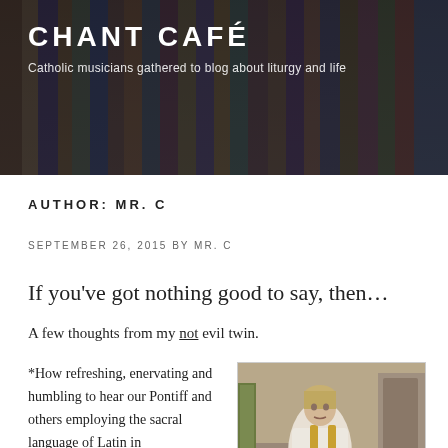CHANT CAFÉ
Catholic musicians gathered to blog about liturgy and life
AUTHOR: MR. C
SEPTEMBER 26, 2015 BY MR. C
If you've got nothing good to say, then…
A few thoughts from my not evil twin.
*How refreshing, enervating and humbling to hear our Pontiff and others employing the sacral language of Latin in
[Figure (photo): A young priest or deacon in white vestments with a gold stole, standing at a lectern holding a book, in a church setting]